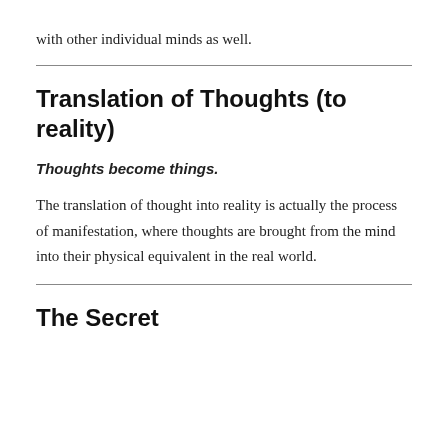with other individual minds as well.
Translation of Thoughts (to reality)
Thoughts become things.
The translation of thought into reality is actually the process of manifestation, where thoughts are brought from the mind into their physical equivalent in the real world.
The Secret